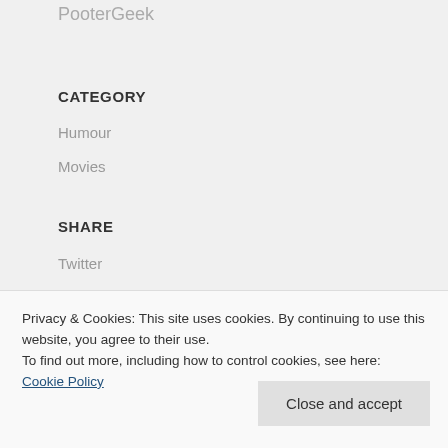PooterGeek
CATEGORY
Humour
Movies
SHARE
Twitter
Facebook
Google+
Privacy & Cookies: This site uses cookies. By continuing to use this website, you agree to their use.
To find out more, including how to control cookies, see here: Cookie Policy
Close and accept